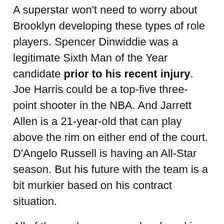A superstar won't need to worry about Brooklyn developing these types of role players. Spencer Dinwiddie was a legitimate Sixth Man of the Year candidate prior to his recent injury. Joe Harris could be a top-five three-point shooter in the NBA. And Jarrett Allen is a 21-year-old that can play above the rim on either end of the court. D'Angelo Russell is having an All-Star season. But his future with the team is a bit murkier based on his contract situation.
All of these players were developed in Brooklyn's incubator and they are having breakout seasons. They appear ready for the big moment in a way that the young guys on the Knicks aren't yet. The Nets appear destined for a playoff spot as well, further proof that this team is readymade for a superstar to